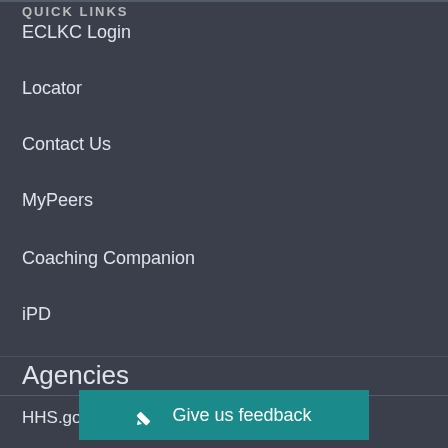QUICK LINKS
ECLKC Login
Locator
Contact Us
MyPeers
Coaching Companion
iPD
Agencies
HHS.gov
ACF.HHS.gov
Office of Head Start
USA.gov
Give us feedback